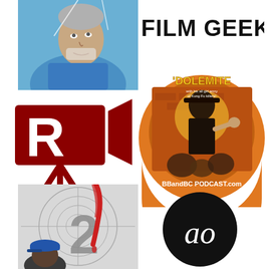[Figure (photo): Close-up stylized/illustrated portrait of a person looking upward, wearing a blue shirt, dramatic lighting]
[Figure (logo): Text logo reading FILM GEEKY in large bold black sans-serif letters]
[Figure (logo): Red movie camera logo with a large white letter R on the camera body, mounted on a tripod, all in dark red/crimson]
[Figure (logo): Circular badge logo: Dolemite movie poster art in center with action scene, orange border with text BBandBC PODCAST.com at bottom, yellow Dolemite text at top]
[Figure (photo): Film countdown number 2 on a film leader frame with a person wearing a blue cap in lower left and a dramatic red hand/arm reaching from above]
[Figure (logo): Black circle with white cursive/script letters 'ao' inside]